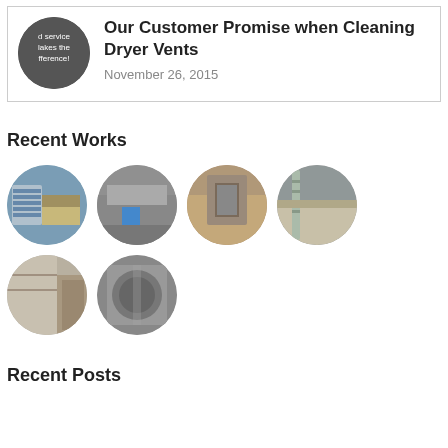[Figure (other): Card with circular logo showing text 'good service makes the difference!' and article title 'Our Customer Promise when Cleaning Dryer Vents' with date November 26, 2015]
Our Customer Promise when Cleaning Dryer Vents
November 26, 2015
Recent Works
[Figure (photo): Six circular thumbnail photos of dryer vent cleaning work — roof vents, building exterior shots, ladder on wall, close-up of vent pipe]
Recent Posts